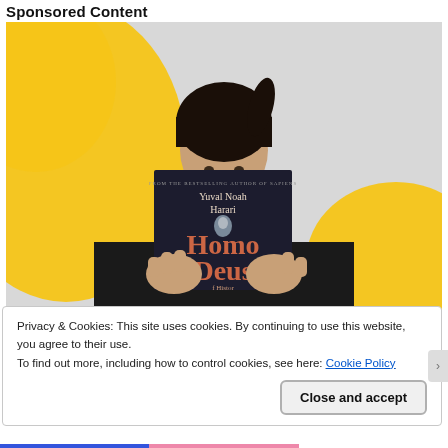Sponsored Content
[Figure (photo): Person holding up the book 'Homo Deus' by Yuval Noah Harari in front of their face, against a yellow and grey background]
Privacy & Cookies: This site uses cookies. By continuing to use this website, you agree to their use.
To find out more, including how to control cookies, see here: Cookie Policy
Close and accept